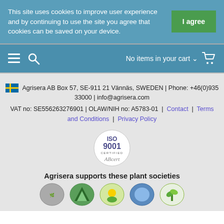This site uses cookies to improve user experience and by continuing to use the site you agree that cookies can be saved on your device.
I agree
No items in your cart
🇸🇪 Agrisera AB Box 57, SE-911 21 Vännäs, SWEDEN | Phone: +46(0)935 33000 | info@agrisera.com
VAT no: SE556263276901 | OLAW/NIH no: A5783-01 | Contact | Terms and Conditions | Privacy Policy
[Figure (logo): ISO 9001 Certified logo]
Agrisera supports these plant societies
[Figure (logo): Plant society logos row]